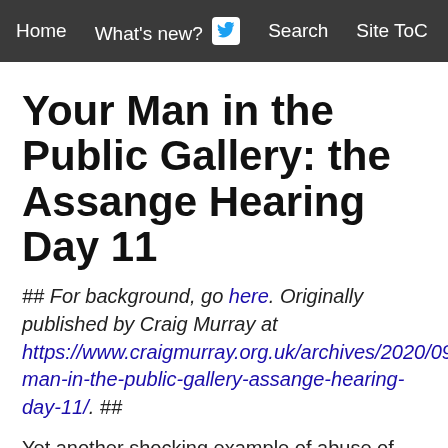Home  What's new?  Search  Site ToC
Your Man in the Public Gallery: the Assange Hearing Day 11
## For background, go here. Originally published by Craig Murray at https://www.craigmurray.org.uk/archives/2020/09/your-man-in-the-public-gallery-assange-hearing-day-11/. ##
Yet another shocking example of abuse of court procedure unfolded on Wednesday. James Lewis QC for the prosecution had been permitted gratuitously to read to two previous witnesses with zero connection to this claim, an extract from a book by Luke Harding and David Leigh in which Harding claims that at a dinner at El Moro Restaurant